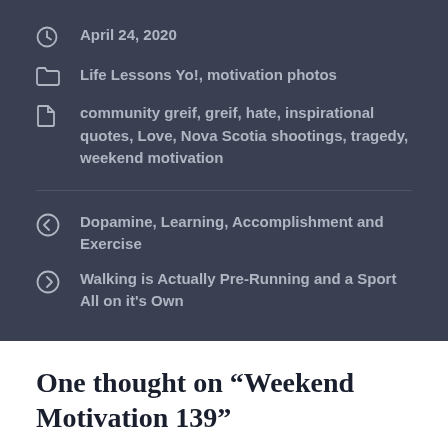April 24, 2020
Life Lessons Yo!, motivation photos
community greif, greif, hate, inspirational quotes, Love, Nova Scotia shootings, tragedy, weekend motivation
Dopamine, Learning, Accomplishment and Exercise
Walking is Actually Pre-Running and a Sport All on it's Own
One thought on “Weekend Motivation 139”